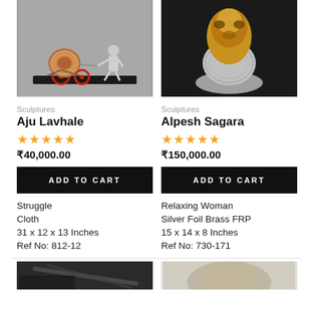[Figure (photo): Sculpture of a figure pulling a cart with a hose reel on a dark base, gray background]
[Figure (photo): Sculpture of a relaxing woman, silver foil and brass, dark background]
Sculptures
Sculptures
Aju Lavhale
Alpesh Sagara
★★★★★
★★★★★
₹40,000.00
₹150,000.00
ADD TO CART
ADD TO CART
Struggle
Relaxing Woman
Cloth
Silver Foil Brass FRP
31 x 12 x 13 Inches
15 x 14 x 8 Inches
Ref No: 812-12
Ref No: 730-171
[Figure (photo): Partial view of sculpture, dark tones]
[Figure (photo): Partial view of sculpture, light tones]